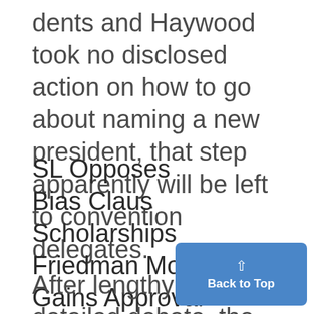dents and Haywood took no disclosed action on how to go about naming a new president, that step apparently will be left to convention delegates.
SL Opposes
Bias Claus
Scholarships
Friedman Motion
Gains Approval
After lengthy and detailed debate, the Student Legislature last night approved a motion to ask